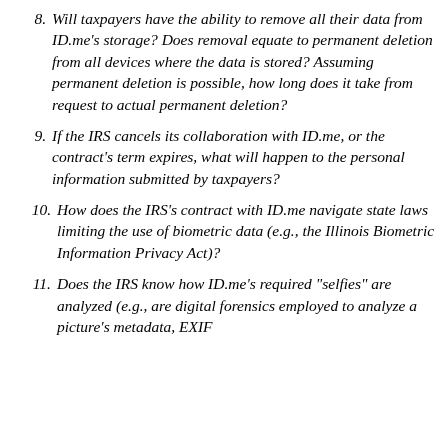8. Will taxpayers have the ability to remove all their data from ID.me's storage? Does removal equate to permanent deletion from all devices where the data is stored? Assuming permanent deletion is possible, how long does it take from request to actual permanent deletion?
9. If the IRS cancels its collaboration with ID.me, or the contract's term expires, what will happen to the personal information submitted by taxpayers?
10. How does the IRS's contract with ID.me navigate state laws limiting the use of biometric data (e.g., the Illinois Biometric Information Privacy Act)?
11. Does the IRS know how ID.me's required "selfies" are analyzed (e.g., are digital forensics employed to analyze a picture's metadata, EXIF